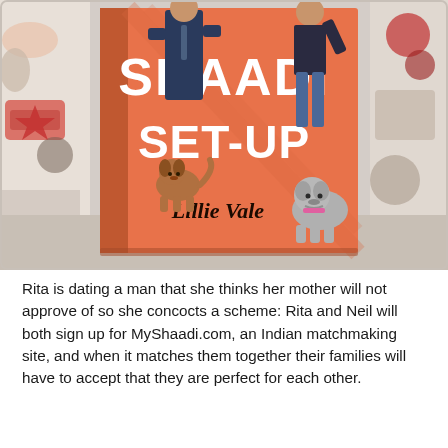[Figure (photo): A photograph of the book 'Shaadi Set-Up' by Lillie Vale, showing its orange cover with illustrated characters (a man in a suit, a woman in jeans, a small brown dog, and a grey bulldog). The book is propped up against a colorful quilted backdrop.]
Rita is dating a man that she thinks her mother will not approve of so she concocts a scheme: Rita and Neil will both sign up for MyShaadi.com, an Indian matchmaking site, and when it matches them together their families will have to accept that they are perfect for each other.